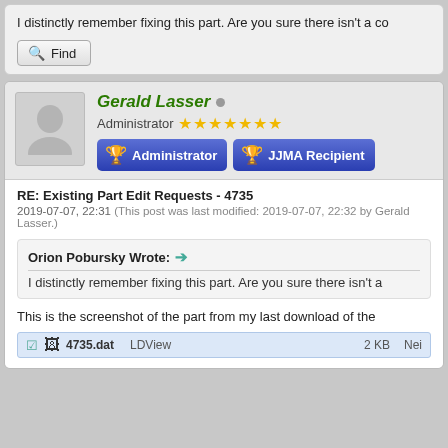I distinctly remember fixing this part. Are you sure there isn't a co
[Figure (other): Find button with magnifying glass icon]
Gerald Lasser - Administrator with 7 stars, Administrator badge, JJMA Recipient badge
RE: Existing Part Edit Requests - 4735
2019-07-07, 22:31 (This post was last modified: 2019-07-07, 22:32 by Gerald Lasser.)
Orion Pobursky Wrote: I distinctly remember fixing this part. Are you sure there isn't a
This is the screenshot of the part from my last download of the
4735.dat   LDView   2 KB   Nei